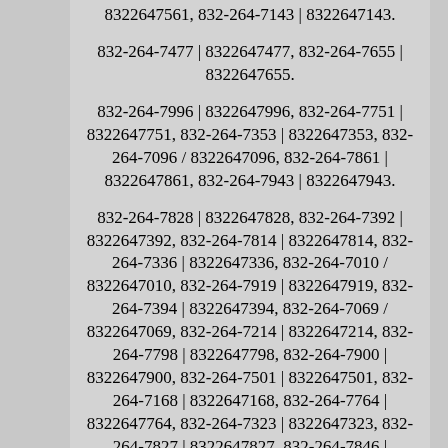8322647561, 832-264-7143 | 8322647143.
832-264-7477 | 8322647477, 832-264-7655 | 8322647655.
832-264-7996 | 8322647996, 832-264-7751 | 8322647751, 832-264-7353 | 8322647353, 832-264-7096 / 8322647096, 832-264-7861 | 8322647861, 832-264-7943 | 8322647943.
832-264-7828 | 8322647828, 832-264-7392 | 8322647392, 832-264-7814 | 8322647814, 832-264-7336 | 8322647336, 832-264-7010 / 8322647010, 832-264-7919 | 8322647919, 832-264-7394 | 8322647394, 832-264-7069 / 8322647069, 832-264-7214 | 8322647214, 832-264-7798 | 8322647798, 832-264-7900 | 8322647900, 832-264-7501 | 8322647501, 832-264-7168 | 8322647168, 832-264-7764 | 8322647764, 832-264-7323 | 8322647323, 832-264-7827 | 8322647827, 832-264-7846 | 8322647846, 832-264-7411 | 8322647411, 832-264-7286 | 8322647286, 832-264-7897 | 8322647897, 832-264-7577 | 8322647577, 832-264-7091 / 8322647091, 832-264-7627 |